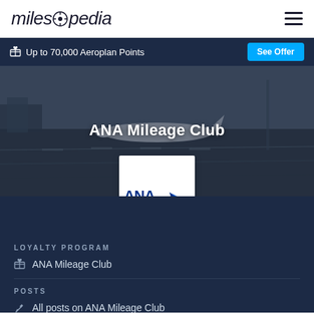milesopedia
Up to 70,000 Aeroplan Points
See Offer
ANA Mileage Club
[Figure (logo): ANA inspiration of JAPAN logo on white card background]
LOYALTY PROGRAM
ANA Mileage Club
POSTS
All posts on ANA Mileage Club